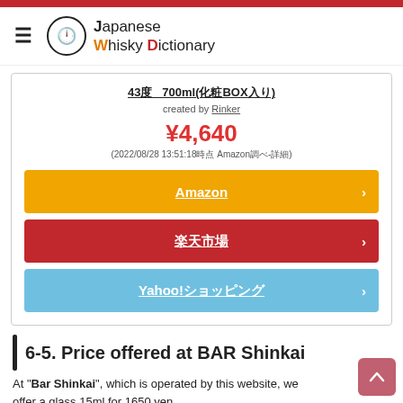Japanese Whisky Dictionary
43度 700ml(化粧BOX入り)
created by Rinker
¥4,640
(2022/08/28 13:51:18時点 Amazon調べ-詳細)
Amazon
楽天市場
Yahoo!ショッピング
6-5. Price offered at BAR Shinkai
At "Bar Shinkai", which is operated by this website, we offer a glass 15ml for 1650 yen...